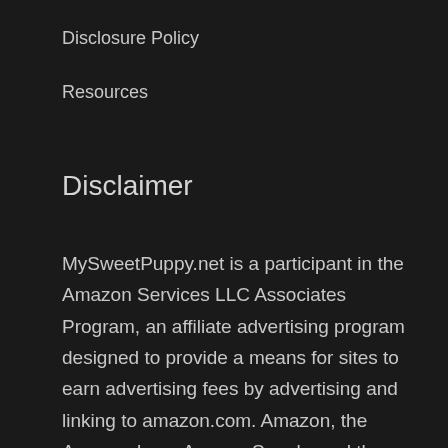Disclosure Policy
Resources
Disclaimer
MySweetPuppy.net is a participant in the Amazon Services LLC Associates Program, an affiliate advertising program designed to provide a means for sites to earn advertising fees by advertising and linking to amazon.com. Amazon, the Amazon logo, AmazonSupply, and the AmazonSupply logo are trademarks of